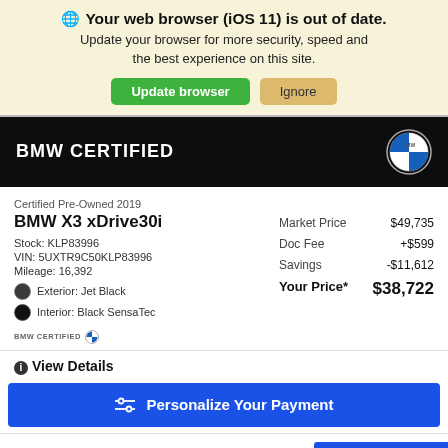🌐 Your web browser (iOS 11) is out of date. Update your browser for more security, speed and the best experience on this site.
Update browser | Ignore
BMW CERTIFIED
Certified Pre-Owned 2019
BMW X3 xDrive30i
Stock: KLP83996
VIN: 5UXTR9C50KLP83996
Mileage: 16,392
Exterior: Jet Black
Interior: Black SensaTec
|  |  |
| --- | --- |
| Market Price | $49,735 |
| Doc Fee | +$599 |
| Savings | -$11,612 |
| Your Price* | $38,722 |
BMW CERTIFIED
ⓘ View Details
≡ Personalize Your Payment
This site uses cooki
💬 Live Chat